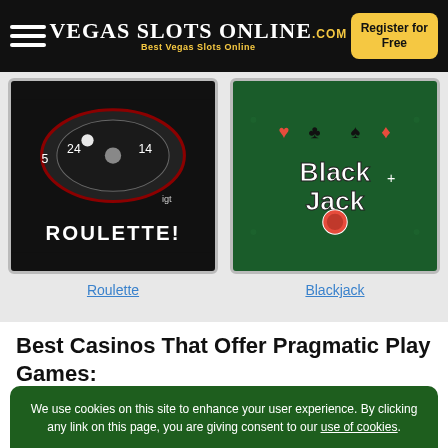VegasSlotsOnline.com — Best Vegas Slots Online | Register for Free
[Figure (screenshot): Roulette game thumbnail — dark background with roulette wheel, IGT logo, text ROULETTE!]
Roulette
[Figure (screenshot): Blackjack game thumbnail — dark green background with Blackjack logo and card suit icons]
Blackjack
Best Casinos That Offer Pragmatic Play Games:
We use cookies on this site to enhance your user experience. By clicking any link on this page, you are giving consent to our use of cookies.